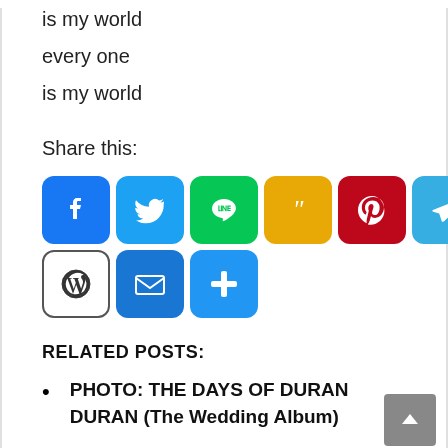is my world
every one
is my world
Share this:
[Figure (infographic): Social media share buttons: Facebook, Twitter, LINE, Quora, Pinterest, Telegram, Buffer, Blogger, Tumblr, WordPress, Email, Share+]
RELATED POSTS:
PHOTO: THE DAYS OF DURAN DURAN (The Wedding Album)